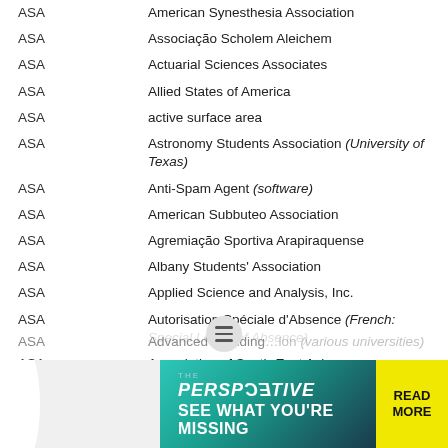ASA — American Synesthesia Association
ASA — Associação Scholem Aleichem
ASA — Actuarial Sciences Associates
ASA — Allied States of America
ASA — active surface area
ASA — Astronomy Students Association (University of Texas)
ASA — Anti-Spam Agent (software)
ASA — American Subbuteo Association
ASA — Agremiação Sportiva Arapiraquense
ASA — Albany Students' Association
ASA — Applied Science and Analysis, Inc.
ASA — Autorisation Spéciale d'Absence (French: Special Leave of Absence)
ASA — Association of South-East Asia
ASA — Art Service Association
ASA — Alumni Scholars Association (various schools)
ASA — Advanced Standing … ion (various universities)
[Figure (screenshot): Advertisement banner: 'THE PERSPECTIVE — SEE WHAT YOU'RE MISSING' with READ MORE button on yellow background]